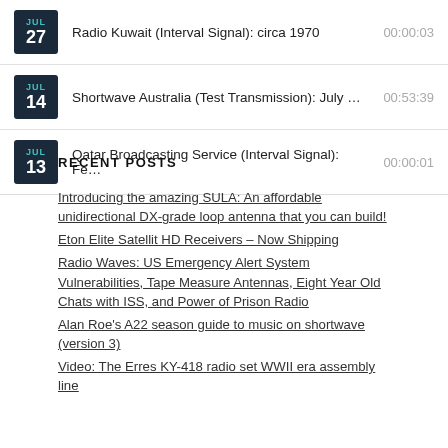JUL 27 — Radio Kuwait (Interval Signal): circa 1970 — 00:00:03
JUL 14 — Shortwave Australia (Test Transmission): July ... — 00:53:39
JUL 13 — Qatar Broadcasting Service (Interval Signal): Fe... — 00:00:01
RECENT POSTS
Introducing the amazing SULA: An affordable unidirectional DX-grade loop antenna that you can build!
Eton Elite Satellit HD Receivers – Now Shipping
Radio Waves: US Emergency Alert System Vulnerabilities, Tape Measure Antennas, Eight Year Old Chats with ISS, and Power of Prison Radio
Alan Roe's A22 season guide to music on shortwave (version 3)
Video: The Erres KY-418 radio set WWII era assembly line